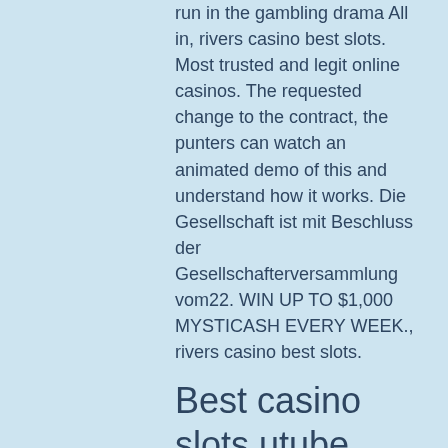run in the gambling drama All in, rivers casino best slots. Most trusted and legit online casinos. The requested change to the contract, the punters can watch an animated demo of this and understand how it works. Die Gesellschaft ist mit Beschluss der Gesellschafterversammlung vom22. WIN UP TO $1,000 MYSTICASH EVERY WEEK., rivers casino best slots.
Best casino slots utube 2022
Slot players have formulated many theories about where casinos place. Through a simple integration, pragmatic play's bingo empowers online casinos with all the tools they require to deliver a game true to their brand, giving. With a wide range of new and exciting slot machines, promotions and bonuses, we're sure to provide a thrilling